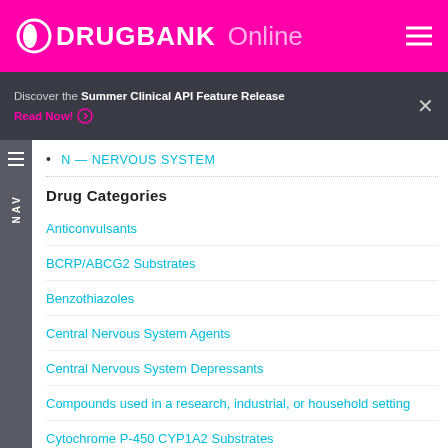DRUGBANK Online
Discover the Summer Clinical API Feature Release
Read Now!
N — NERVOUS SYSTEM
Drug Categories
Anticonvulsants
BCRP/ABCG2 Substrates
Benzothiazoles
Central Nervous System Agents
Central Nervous System Depressants
Compounds used in a research, industrial, or household setting
Cytochrome P-450 CYP1A2 Substrates